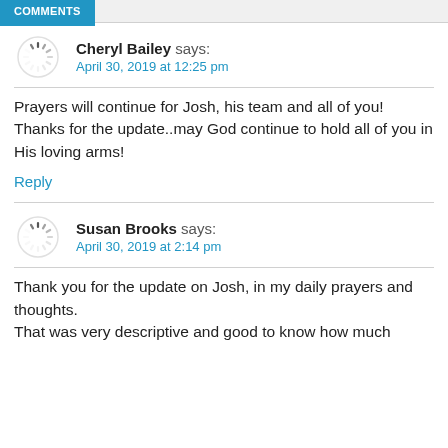COMMENTS
[Figure (illustration): Loading spinner icon (avatar placeholder) for Cheryl Bailey]
Cheryl Bailey says:
April 30, 2019 at 12:25 pm
Prayers will continue for Josh, his team and all of you! Thanks for the update..may God continue to hold all of you in His loving arms!
Reply
[Figure (illustration): Loading spinner icon (avatar placeholder) for Susan Brooks]
Susan Brooks says:
April 30, 2019 at 2:14 pm
Thank you for the update on Josh, in my daily prayers and thoughts.
That was very descriptive and good to know how much